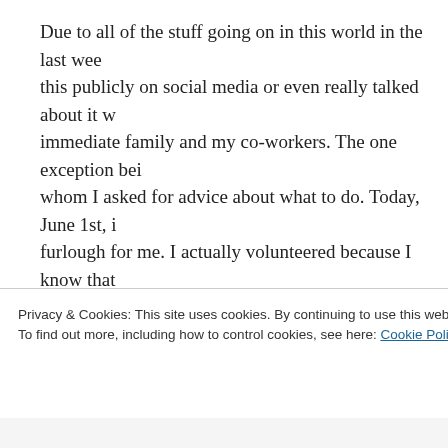Due to all of the stuff going on in this world in the last wee... this publicly on social media or even really talked about it w... immediate family and my co-workers. The one exception bei... whom I asked for advice about what to do. Today, June 1st, i... furlough for me. I actually volunteered because I know that ... forced to take a furlough and this seemed like a better time ... that means I get to be off for the majority of the summer.
You might ask why, when we are in a global pandemic, wou... medical assistants. It seems counterintuitive, right? I'll expla... understand it. Medical organizations really rely on hospitaliz... specifically elective surgeries to pay the bills and keep the re... That's probably a bit of an oversimplification, but, that's my u...
Privacy & Cookies: This site uses cookies. By continuing to use this website, you agree to their use. To find out more, including how to control cookies, see here: Cookie Policy